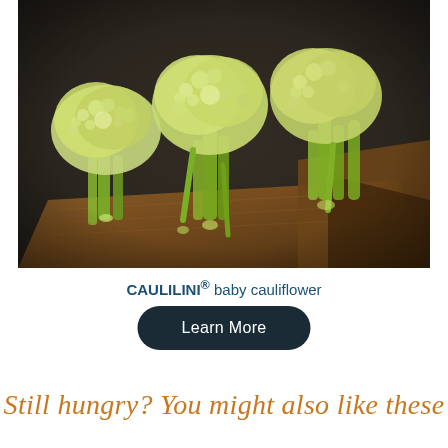[Figure (photo): Baby cauliflower florets (Caulilini) with green stems arranged on a wooden cutting board, photographed close-up against a dark background.]
CAULILINI® baby cauliflower
Learn More
Still hungry? You might also like these